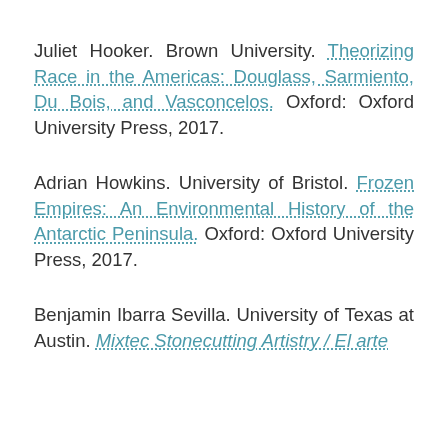Juliet Hooker. Brown University. Theorizing Race in the Americas: Douglass, Sarmiento, Du Bois, and Vasconcelos. Oxford: Oxford University Press, 2017.
Adrian Howkins. University of Bristol. Frozen Empires: An Environmental History of the Antarctic Peninsula. Oxford: Oxford University Press, 2017.
Benjamin Ibarra Sevilla. University of Texas at Austin. Mixtec Stonecutting Artistry / El arte